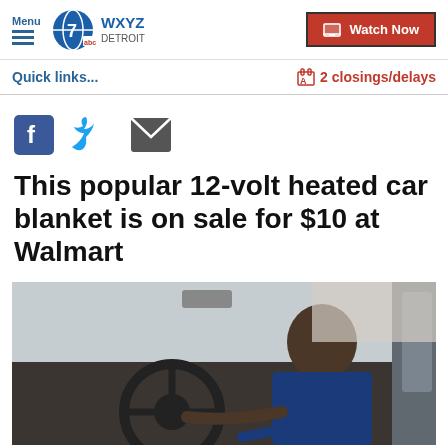Menu | WXYZ abc DETROIT | Watch Now
Quick links...
🏫 2 closings/delays
[Figure (illustration): Social sharing icons: Facebook, Twitter, Email]
This popular 12-volt heated car blanket is on sale for $10 at Walmart
[Figure (photo): Woman sitting in driver's seat of a car, hands on steering wheel, door open]